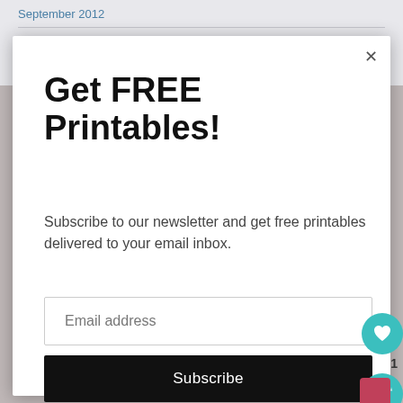September 2012
August 2012
Get FREE Printables!
Subscribe to our newsletter and get free printables delivered to your email inbox.
Email address
Subscribe